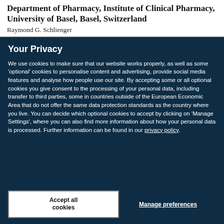Department of Pharmacy, Institute of Clinical Pharmacy, University of Basel, Basel, Switzerland
Raymond G. Schlienger
Your Privacy
We use cookies to make sure that our website works properly, as well as some 'optional' cookies to personalise content and advertising, provide social media features and analyse how people use our site. By accepting some or all optional cookies you give consent to the processing of your personal data, including transfer to third parties, some in countries outside of the European Economic Area that do not offer the same data protection standards as the country where you live. You can decide which optional cookies to accept by clicking on 'Manage Settings', where you can also find more information about how your personal data is processed. Further information can be found in our privacy policy.
Accept all cookies
Manage preferences